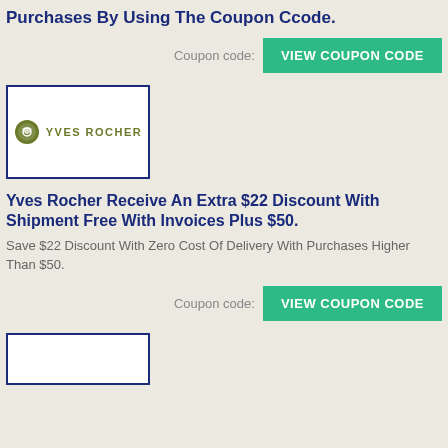Purchases By Using The Coupon Ccode.
Coupon code: VIEW COUPON CODE
[Figure (logo): Yves Rocher logo inside a bordered box]
Yves Rocher Receive An Extra $22 Discount With Shipment Free With Invoices Plus $50.
Save $22 Discount With Zero Cost Of Delivery With Purchases Higher Than $50.
Coupon code: VIEW COUPON CODE
[Figure (logo): Partial logo box at bottom]